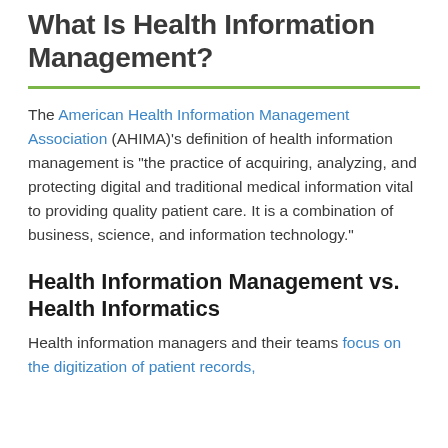What Is Health Information Management?
The American Health Information Management Association (AHIMA)'s definition of health information management is “the practice of acquiring, analyzing, and protecting digital and traditional medical information vital to providing quality patient care. It is a combination of business, science, and information technology.”
Health Information Management vs. Health Informatics
Health information managers and their teams focus on the digitization of patient records,